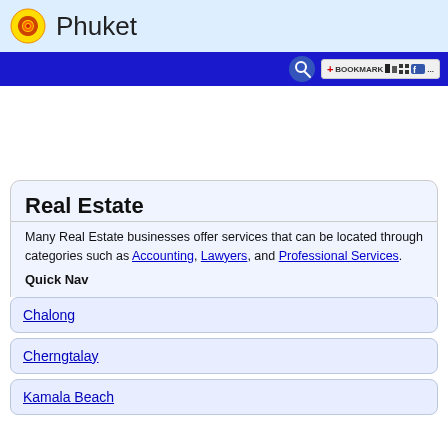Phuket
Many Real Estate businesses offer services that can be located through categories such as Accounting, Lawyers, and Professional Services.
Real Estate
Quick Nav
Chalong
Cherngtalay
Kamala Beach